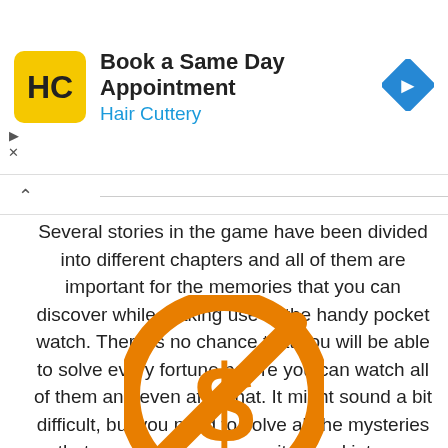[Figure (other): Hair Cuttery advertisement banner with logo (HC in yellow circle), text 'Book a Same Day Appointment' and 'Hair Cuttery' in blue, and a blue diamond navigation icon. Play and close controls on left.]
Several stories in the game have been divided into different chapters and all of them are important for the memories that you can discover while making use of the handy pocket watch. There is no chance that you will be able to solve every fortune before you can watch all of them and even after that. It might sound a bit difficult, but you need to solve all the mysteries that surround the crew as it turned into an addiction.
[Figure (illustration): Orange circle with a crossed-out dollar sign symbol (no cost / free icon), partially visible at bottom of page.]